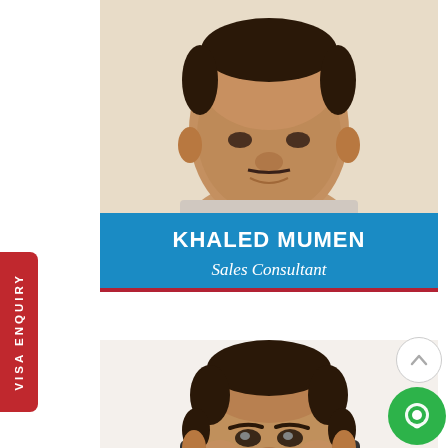[Figure (photo): Headshot photo of Khaled Mumen - a man with dark features cropped from shoulders up]
KHALED MUMEN
Sales Consultant
VISA ENQUIRY
[Figure (photo): Photo of a second man seated at a desk, wearing a white shirt, looking at camera]